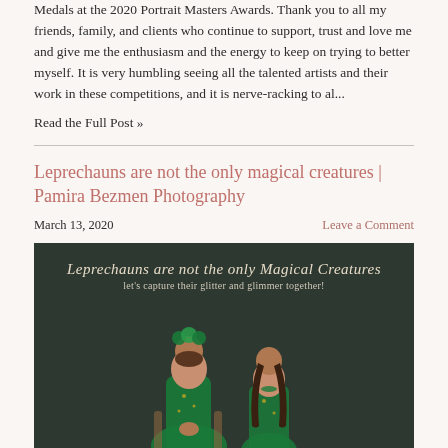Medals at the 2020 Portrait Masters Awards. Thank you to all my friends, family, and clients who continue to support, trust and love me and give me the enthusiasm and the energy to keep on trying to better myself. It is very humbling seeing all the talented artists and their work in these competitions, and it is nerve-racking to al...
Read the Full Post »
Leprechauns are not the only magical creatures | Pamira Bezmen Photography
March 13, 2020
Leave a Comment
[Figure (photo): Two young girls dressed in green outfits posed together on a dark background, with text overlay reading 'Leprechauns are not the only Magical Creatures - let's capture their glitter and glimmer together!']